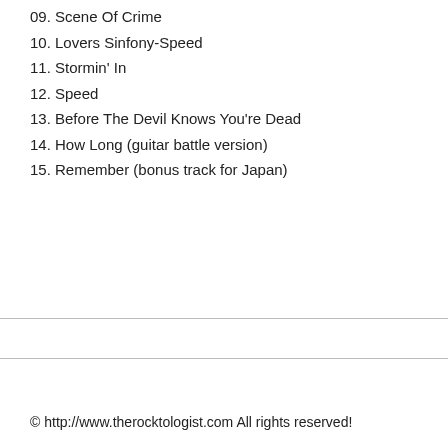09. Scene Of Crime
10. Lovers Sinfony-Speed
11. Stormin' In
12. Speed
13. Before The Devil Knows You're Dead
14. How Long (guitar battle version)
15. Remember (bonus track for Japan)
© http://www.therocktologist.com All rights reserved!